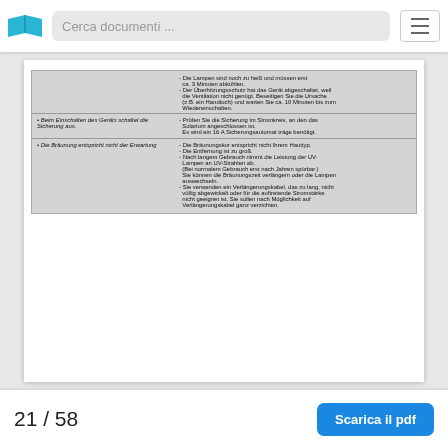Cerca documenti ...
| Problem | Lösung |
| --- | --- |
|  | - Die Lampen sind noch zu heiß und müssen erst ca. 3 Minuten abkühlen.
- Der Überhitzungsschutz hat das Gerät abgeschaltet, weil die Ventilation nicht genügt. Beseitigen Sie die Ursache (z.B. ein Handtuch) und warten Sie ca. 10 Minuten bis zum Wiedereinschalten. |
| • Beim Einschalten des Geräts schaltet die Sicherung aus. | - Prüfen Sie die Sicherung im Stromkreis, an den das Solarium angeschlossen ist.
  Es wird ein 16 A Sicherungsautomat träge benötigt. |
| • Die Bräunung entspricht nicht der Erwartung | - Die Bräunungskur entspricht nicht Ihrem Hauttyp.
- Die Entfernung ist zu groß.
- Nach langem Gebrauch nimmt die Leistung der UV-Lampen an UV-Strahlen ab.
  (Bei normalem Gebrauch erst nach Jahren spürbar.)
  Sie können die Bräunungszeit verlängern oder die Lampen auswechseln.
- Sie verwenden ein Verlängerungskabel, das zu lang, nicht völlig abgewickelt oder für die auftretende Stromstärke nicht geeignet ist. Sie sollen nach Möglichkeit auf Verlängerungskabel ganz verzichten. |
21 / 58